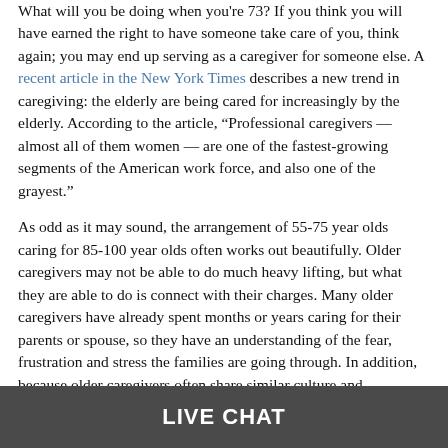What will you be doing when you're 73? If you think you will have earned the right to have someone take care of you, think again; you may end up serving as a caregiver for someone else. A recent article in the New York Times describes a new trend in caregiving: the elderly are being cared for increasingly by the elderly. According to the article, “Professional caregivers — almost all of them women — are one of the fastest-growing segments of the American work force, and also one of the grayest.”
As odd as it may sound, the arrangement of 55-75 year olds caring for 85-100 year olds often works out beautifully. Older caregivers may not be able to do much heavy lifting, but what they are able to do is connect with their charges. Many older caregivers have already spent months or years caring for their parents or spouse, so they have an understanding of the fear, frustration and stress the families are going through. In addition, because older caregivers often share similar culture and experiences, the relationship can end up turning into a friendship, as with the case of Grace Jackson and Mary-Lou O’Neill:
LIVE CHAT